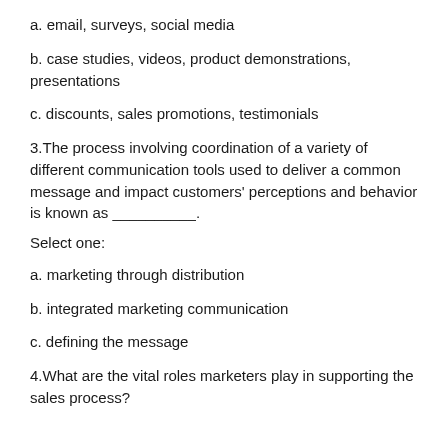a. email, surveys, social media
b. case studies, videos, product demonstrations, presentations
c. discounts, sales promotions, testimonials
3.The process involving coordination of a variety of different communication tools used to deliver a common message and impact customers' perceptions and behavior is known as __________.
Select one:
a. marketing through distribution
b. integrated marketing communication
c. defining the message
4.What are the vital roles marketers play in supporting the sales process?